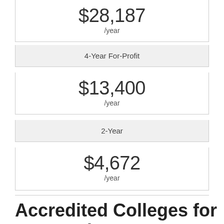$28,187 /year
4-Year For-Profit
$13,400 /year
2-Year
$4,672 /year
Accredited Colleges for Accounting Degree N...